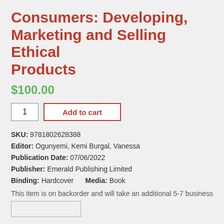Consumers: Developing, Marketing and Selling Ethical Products
$100.00
1  Add to cart
SKU: 9781802628388
Editor: Ogunyemi, Kemi Burgal, Vanessa
Publication Date: 07/06/2022
Publisher: Emerald Publishing Limited
Binding: Hardcover   Media: Book
This item is on backorder and will take an additional 5-7 business days for processing.